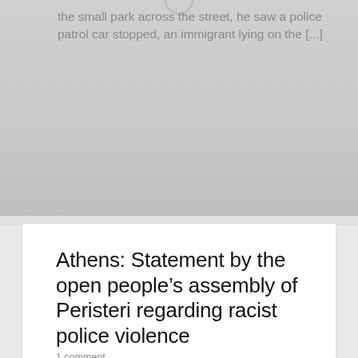the small park across the street, he saw a police patrol car stopped, an immigrant lying on the [...]
Athens: Statement by the open people’s assembly of Peristeri regarding racist police violence
1 comment
On Thursday, July 19th, the court of Piraeus rejected as unfounded the motion of the chief prosecutor of Piraeus, who